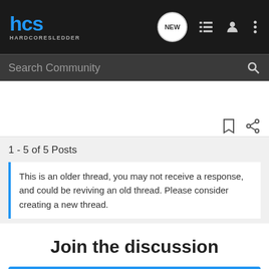HCS HARDCORESLEDDER — navigation bar with logo, NEW, list, user, and menu icons
Search Community
1 - 5 of 5 Posts
This is an older thread, you may not receive a response, and could be reviving an old thread. Please consider creating a new thread.
Join the discussion